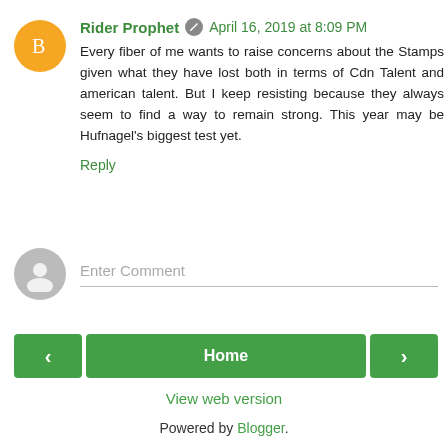Rider Prophet  April 16, 2019 at 8:09 PM
Every fiber of me wants to raise concerns about the Stamps given what they have lost both in terms of Cdn Talent and american talent. But I keep resisting because they always seem to find a way to remain strong. This year may be Hufnagel's biggest test yet.
Reply
Enter Comment
Home
View web version
Powered by Blogger.